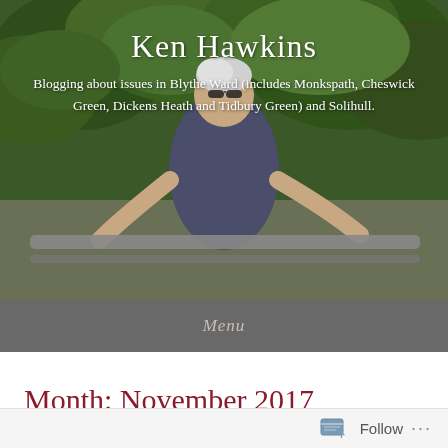[Figure (photo): Outdoor photo of Ken Hawkins, a man with white/grey hair wearing sunglasses and a dark navy polo shirt, leaning on a metal railing with trees and greenery in the background. The blog header image with site title and subtitle overlaid in white text.]
Ken Hawkins
Blogging about issues in Blythe Ward (includes Monkspath, Cheswick Green, Dickens Heath and Tidbury Green) and Solihull.
Menu
Month: November 2017
Follow ...